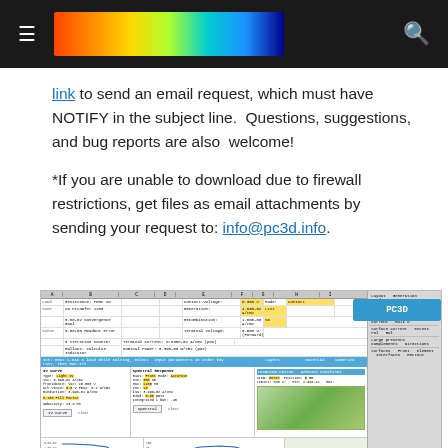PC3D website header with hamburger menu, spectrum color bar, and search icon
link to send an email request, which must have NOTIFY in the subject line.  Questions, suggestions, and bug reports are also  welcome!
*If you are unable to download due to firewall restrictions, get files as email attachments by sending your request to: info@pc3d.info.
[Figure (screenshot): PC3D software interface screenshot showing spreadsheet-like layout with columns for device parameters, spectral response, and a PC3D logo in blue. Panels show IV curves, generation data, terminal voltage/current settings, and chart graphs at bottom.]